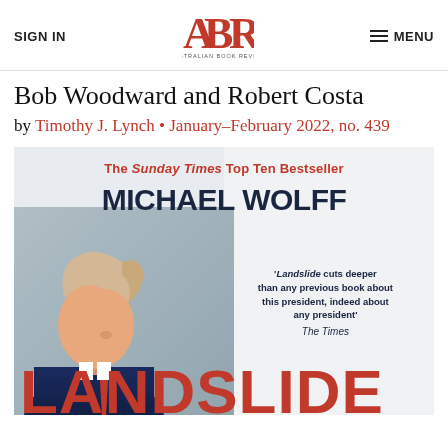SIGN IN | ABR Australian Book Review | MENU
Bob Woodward and Robert Costa
by Timothy J. Lynch • January–February 2022, no. 439
[Figure (photo): Book cover of 'Landslide' by Michael Wolff. Features 'The Sunday Times Top Ten Bestseller' in red at top, author name MICHAEL WOLFF in large dark navy text, a photo of Donald Trump looking downward in profile on the left half, and a quote on the right: 'Landslide cuts deeper than any previous book about this president, indeed about any president' – The Times. The title LANDSLIDE appears in large red letters at the bottom.]